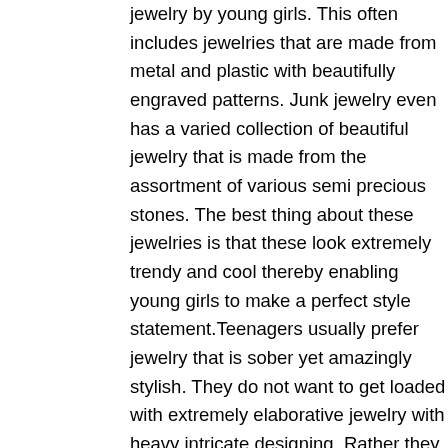jewelry by young girls. This often includes jewelries that are made from metal and plastic with beautifully engraved patterns. Junk jewelry even has a varied collection of beautiful jewelry that is made from the assortment of various semi precious stones. The best thing about these jewelries is that these look extremely trendy and cool thereby enabling young girls to make a perfect style statement.Teenagers usually prefer jewelry that is sober yet amazingly stylish. They do not want to get loaded with extremely elaborative jewelry with heavy intricate designing. Rather they prefer something very light and easy-going in order to intact the simplicity. Metal jewelry is highly popular as these jewelries endorse the “rock star” feeling. Metal jewelry is cool and funky that makes one really trendy. This type jewelry is the new “in” thing among the teenagers. Apart from attractive metal jewelries there are several options available in silver that looks really elegant and graceful on young girls.Teenage girls symbolize vibrancy and cheerfulness. Considering this, many fashion and jewelry designers have come up with attractive colorful jewelry in order to capture such essence. Junk jewelry is therefore available in varied